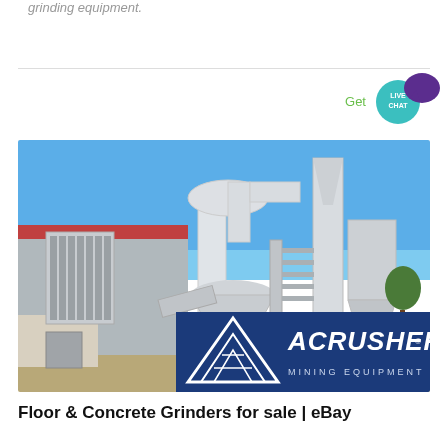grinding equipment.
[Figure (photo): Industrial mining/grinding equipment machinery installation outdoors with white pipes, cyclones, and dust collector, with ACRUSHER MINING EQUIPMENT logo overlay at bottom right]
Floor & Concrete Grinders for sale | eBay